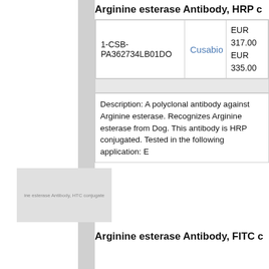Arginine esterase Antibody, HRP c
|  |  |  |
| --- | --- | --- |
| 1-CSB-PA362734LB01DO | Cusabio | EUR 317.00 EUR 335.00 |
Description: A polyclonal antibody against Arginine esterase. Recognizes Arginine esterase from Dog. This antibody is HRP conjugated. Tested in the following application: E
[Figure (photo): Thumbnail image placeholder for Arginine esterase Antibody, HTC conjugated product]
Arginine esterase Antibody, FITC c